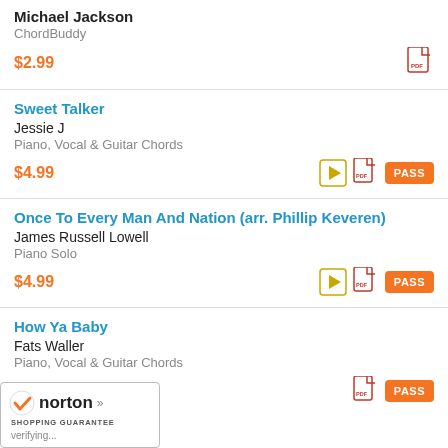Michael Jackson
ChordBuddy
$2.99
Sweet Talker
Jessie J
Piano, Vocal & Guitar Chords
$4.99
Once To Every Man And Nation (arr. Phillip Keveren)
James Russell Lowell
Piano Solo
$4.99
How Ya Baby
Fats Waller
Piano, Vocal & Guitar Chords
$4.99
...obin
...erson
[Figure (logo): Norton Shopping Guarantee badge with checkmark, verifying...]